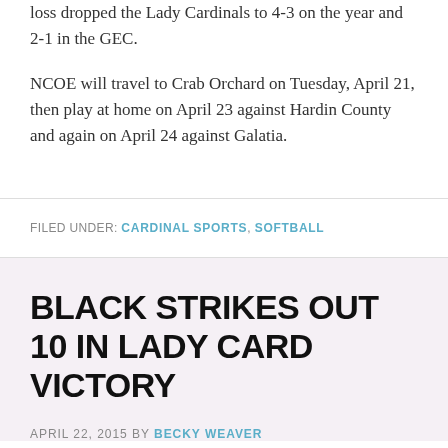loss dropped the Lady Cardinals to 4-3 on the year and 2-1 in the GEC.
NCOE will travel to Crab Orchard on Tuesday, April 21, then play at home on April 23 against Hardin County and again on April 24 against Galatia.
FILED UNDER: CARDINAL SPORTS, SOFTBALL
BLACK STRIKES OUT 10 IN LADY CARD VICTORY
APRIL 22, 2015 BY BECKY WEAVER